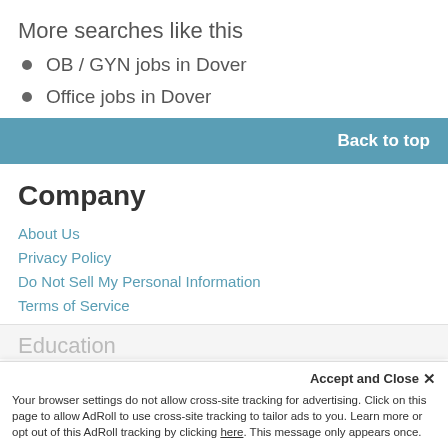More searches like this
OB / GYN jobs in Dover
Office jobs in Dover
Back to top
Company
About Us
Privacy Policy
Do Not Sell My Personal Information
Terms of Service
Education
Accept and Close ×
Your browser settings do not allow cross-site tracking for advertising. Click on this page to allow AdRoll to use cross-site tracking to tailor ads to you. Learn more or opt out of this AdRoll tracking by clicking here. This message only appears once.